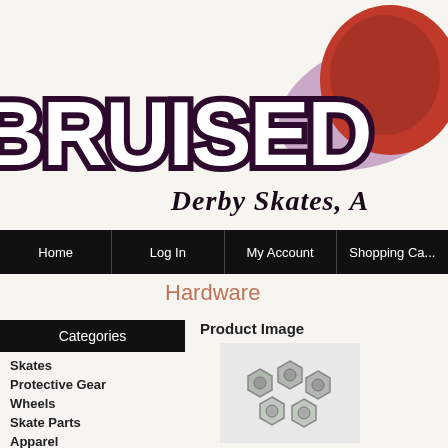[Figure (logo): Bruised brand logo with large white bold text 'BRUISED' with dark purple outline, a cartoon bruised fist/heart character in red and pink, and italic text 'Derby Skates, A...' below]
Home | Log In | My Account | Shopping Ca...
Hardware
Categories
Skates
Protective Gear
Wheels
Skate Parts
Apparel
Product Image
[Figure (photo): Close-up photo of metal roller skate hardware nuts/bolts, silver/chrome colored]